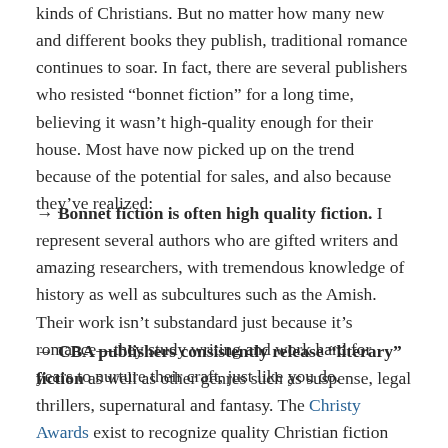kinds of Christians. But no matter how many new and different books they publish, traditional romance continues to soar. In fact, there are several publishers who resisted “bonnet fiction” for a long time, believing it wasn’t high-quality enough for their house. Most have now picked up on the trend because of the potential for sales, and also because they’ve realized:
→ Bonnet fiction is often high quality fiction. I represent several authors who are gifted writers and amazing researchers, with tremendous knowledge of history as well as subcultures such as the Amish. Their work isn’t substandard just because it’s romance—they study writing and work hard for years to nurture their craft, just like you do.
→ CBA publishers consistently release “literary” fiction as well as other genres such as suspense, legal thrillers, supernatural and fantasy. The Christy Awards exist to recognize quality Christian fiction across nine different genres, but being a finalist for a Christy, or even winning one,